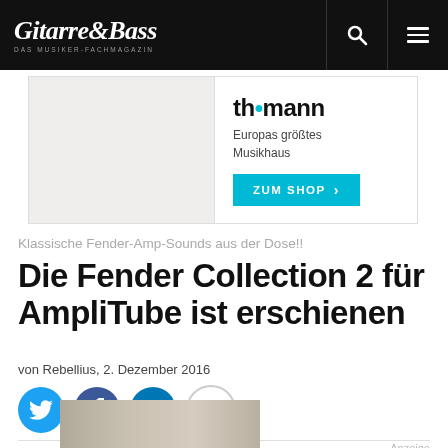Gitarre & Bass — DAS MUSIKER-FACHMAGAZIN
[Figure (screenshot): Thomann advertisement banner with logo 'th•mann', text 'Europas größtes Musikhaus', and a teal 'ZUM SHOP >' button]
Klassische Fender-Amp-Sounds aus der Dose!!
Die Fender Collection 2 für AmpliTube ist erschienen
von Rebellius, 2. Dezember 2016
[Figure (infographic): Social sharing buttons row: Twitter (blue), Facebook (dark blue), LinkedIn (blue), Info (white/grey circle)]
Anzeige
[Figure (photo): Partial view of a product image at the bottom of the page, cropped]